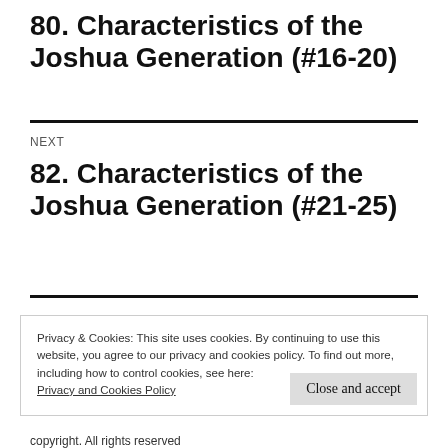80. Characteristics of the Joshua Generation (#16-20)
NEXT
82. Characteristics of the Joshua Generation (#21-25)
Privacy & Cookies: This site uses cookies. By continuing to use this website, you agree to our privacy and cookies policy. To find out more, including how to control cookies, see here: Privacy and Cookies Policy
Close and accept
copyright. All rights reserved